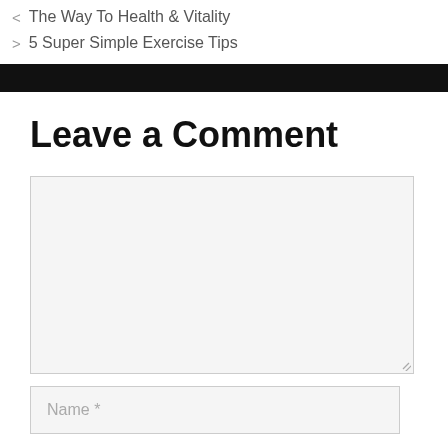< The Way To Health & Vitality
> 5 Super Simple Exercise Tips
Leave a Comment
Name *